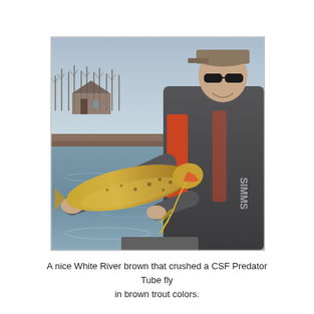[Figure (photo): A man wearing a gray Simms jacket, orange life vest, sunglasses and a tan cap, holding up a large brown trout (golden-brown with spots) with both hands. He is standing in or near a river. Background shows bare winter trees and buildings on the far bank, overcast sky.]
A nice White River brown that crushed a CSF Predator Tube fly in brown trout colors.